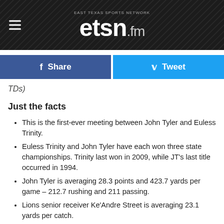etsn.fm
TDs)
Just the facts
This is the first-ever meeting between John Tyler and Euless Trinity.
Euless Trinity and John Tyler have each won three state championships. Trinity last won in 2009, while JT's last title occurred in 1994.
John Tyler is averaging 28.3 points and 423.7 yards per game – 212.7 rushing and 211 passing.
Lions senior receiver Ke'Andre Street is averaging 23.1 yards per catch.
In its two losses, John Tyler scored a total of just 20 points and averaged 281.5 yards.
Euless Trinity is averaging 39.7 points and 319.7 yards...